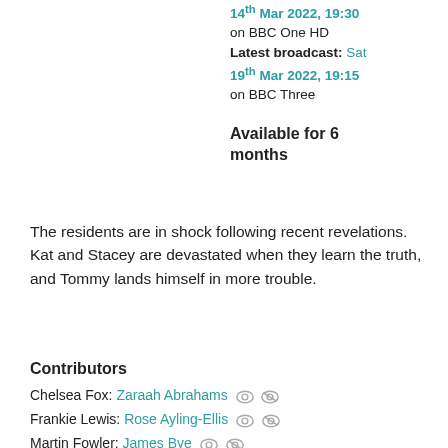14th Mar 2022, 19:30 on BBC One HD Latest broadcast: Sat 19th Mar 2022, 19:15 on BBC Three
Available for 6 months
The residents are in shock following recent revelations. Kat and Stacey are devastated when they learn the truth, and Tommy lands himself in more trouble.
Contributors
Chelsea Fox: Zaraah Abrahams
Frankie Lewis: Rose Ayling-Ellis
Martin Fowler: James Bye
Janine Butcher: Charlie Brooks